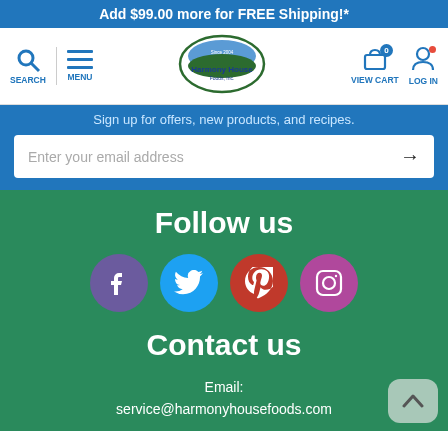Add $99.00 more for FREE Shipping!*
[Figure (screenshot): Harmony House Foods navigation bar with search, menu, logo, cart, and login icons]
Sign up for offers, new products, and recipes.
Enter your email address →
Follow us
[Figure (infographic): Four social media icons: Facebook (purple), Twitter (blue), Pinterest (red), Instagram (pink/purple)]
Contact us
Email: service@harmonyhousefoods.com